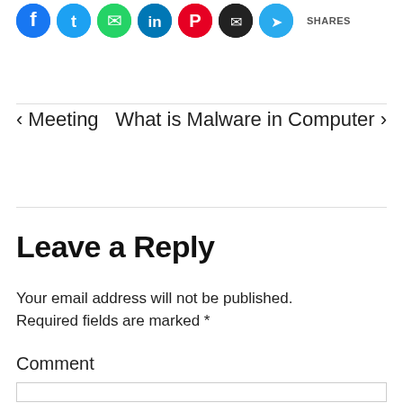[Figure (screenshot): Social media share icons row: Facebook, Twitter, WhatsApp, LinkedIn, Pinterest, Email, Telegram, followed by SHARES label]
‹ Meeting    What is Malware in Computer ›
Leave a Reply
Your email address will not be published.
Required fields are marked *
Comment